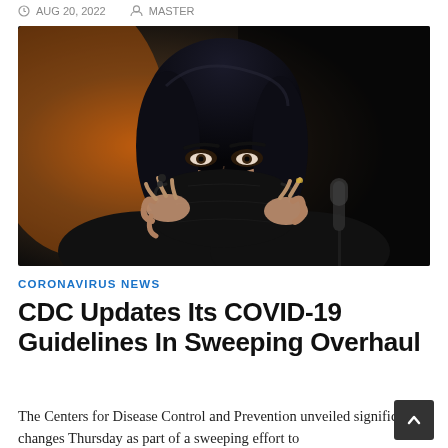AUG 20, 2022  MASTER
[Figure (photo): A woman with dark hair wearing a black face mask, adjusting the mask straps with both hands. She appears to be at a hearing or press event with a microphone visible. Background is dark with warm amber tones.]
CORONAVIRUS NEWS
CDC Updates Its COVID-19 Guidelines In Sweeping Overhaul
The Centers for Disease Control and Prevention unveiled significant changes Thursday as part of a sweeping effort to